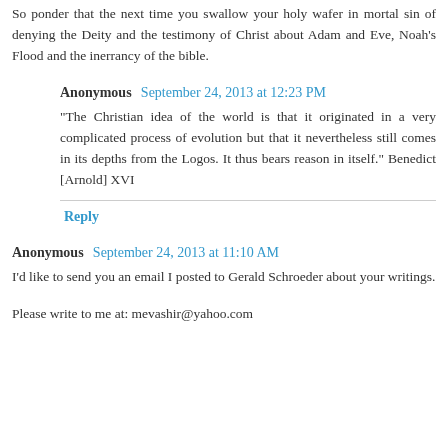So ponder that the next time you swallow your holy wafer in mortal sin of denying the Deity and the testimony of Christ about Adam and Eve, Noah's Flood and the inerrancy of the bible.
Anonymous September 24, 2013 at 12:23 PM
"The Christian idea of the world is that it originated in a very complicated process of evolution but that it nevertheless still comes in its depths from the Logos. It thus bears reason in itself." Benedict [Arnold] XVI
Reply
Anonymous September 24, 2013 at 11:10 AM
I'd like to send you an email I posted to Gerald Schroeder about your writings.
Please write to me at: mevashir@yahoo.com